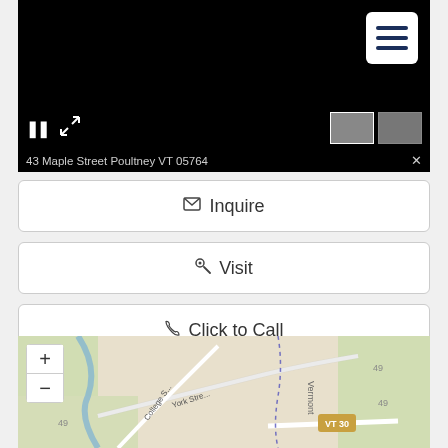[Figure (screenshot): Black video player area showing a property at 43 Maple Street Poultney VT 05764, with pause and expand controls, two thumbnail images, and a hamburger menu button in the top right corner.]
✉ Inquire
🔑 Visit
📞 Click to Call
[Figure (map): Street map showing the area around 43 Maple Street Poultney VT, with roads including York Street, College Street, VT 30, and Vermont route markers. Map includes + and - zoom controls.]